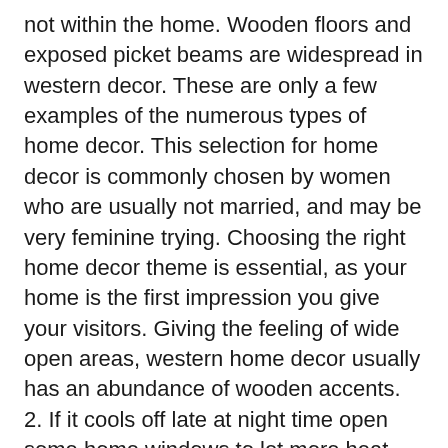not within the home. Wooden floors and exposed picket beams are widespread in western decor. These are only a few examples of the numerous types of home decor. This selection for home decor is commonly chosen by women who are usually not married, and may be very feminine trying. Choosing the right home decor theme is essential, as your home is the first impression you give your visitors. Giving the feeling of wide open areas, western home decor usually has an abundance of wooden accents. 2. If it cools off late at night time open some home windows to let more heat escape.
If you liked this report and you would like to acquire far more info with regards to 19 Cool Orange And Grey Bedroom Ideas kindly stop by our site.